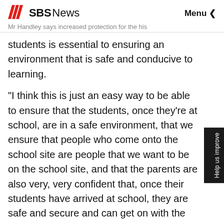SBS News — Menu
Mr Handley says increased protection for the his students is essential to ensuring an environment that is safe and conducive to learning.
"I think this is just an easy way to be able to ensure that the students, once they're at school, are in a safe environment, that we ensure that people who come onto the school site are people that we want to be on the school site, and that the parents are also very, very confident that, once their students have arrived at school, they are safe and secure and can get on with the job of learning."
Al Zahra College will use the funding to employ a security guard, which Mr Handley says will allow